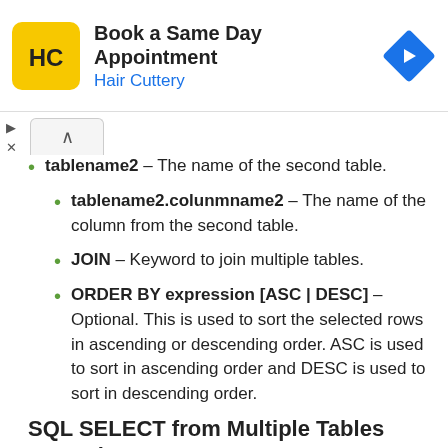[Figure (screenshot): Hair Cuttery advertisement banner: logo (yellow rounded square with HC letters), text 'Book a Same Day Appointment / Hair Cuttery', and a blue navigation arrow diamond icon on the right.]
tablename2 – The name of the second table.
tablename2.colunmname2 – The name of the column from the second table.
JOIN – Keyword to join multiple tables.
ORDER BY expression [ASC | DESC] – Optional. This is used to sort the selected rows in ascending or descending order. ASC is used to sort in ascending order and DESC is used to sort in descending order.
SQL SELECT from Multiple Tables example
In the below example, we are retrieving data from